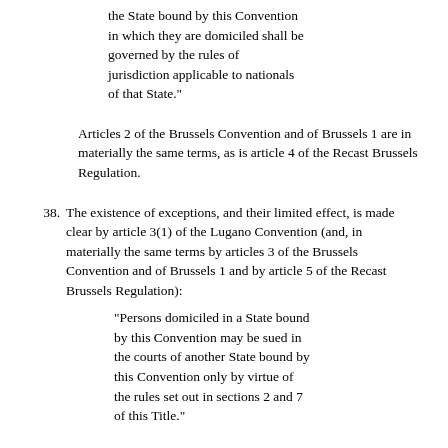the State bound by this Convention in which they are domiciled shall be governed by the rules of jurisdiction applicable to nationals of that State."
Articles 2 of the Brussels Convention and of Brussels 1 are in materially the same terms, as is article 4 of the Recast Brussels Regulation.
38. The existence of exceptions, and their limited effect, is made clear by article 3(1) of the Lugano Convention (and, in materially the same terms by articles 3 of the Brussels Convention and of Brussels 1 and by article 5 of the Recast Brussels Regulation):
"Persons domiciled in a State bound by this Convention may be sued in the courts of another State bound by this Convention only by virtue of the rules set out in sections 2 and 7 of this Title."
39. The only exception relevant to this appeal is that contained in article 6 of the Lugano Convention, quoted above. It appears in Section 2, headed "Special jurisdiction", with